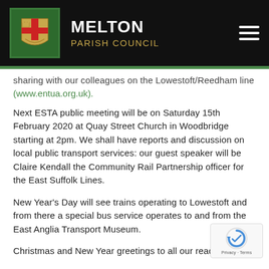MELTON PARISH COUNCIL
sharing with our colleagues on the Lowestoft/Reedham line (www.entua.org.uk).
Next ESTA public meeting will be on Saturday 15th February 2020 at Quay Street Church in Woodbridge starting at 2pm. We shall have reports and discussion on local public transport services: our guest speaker will be Claire Kendall the Community Rail Partnership officer for the East Suffolk Lines.
New Year's Day will see trains operating to Lowestoft and from there a special bus service operates to and from the East Anglia Transport Museum.
Christmas and New Year greetings to all our readers.
Find out more about our work via